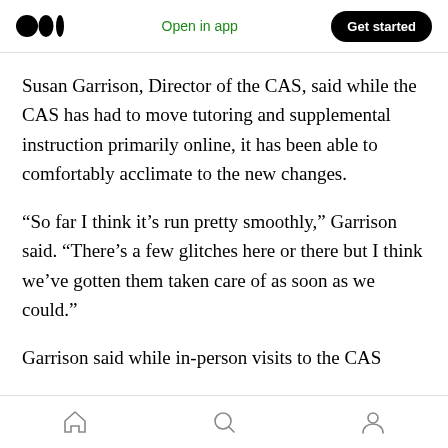Open in app | Get started
Susan Garrison, Director of the CAS, said while the CAS has had to move tutoring and supplemental instruction primarily online, it has been able to comfortably acclimate to the new changes.
“So far I think it’s run pretty smoothly,” Garrison said. “There’s a few glitches here or there but I think we’ve gotten them taken care of as soon as we could.”
Garrison said while in-person visits to the CAS
Home | Search | Profile